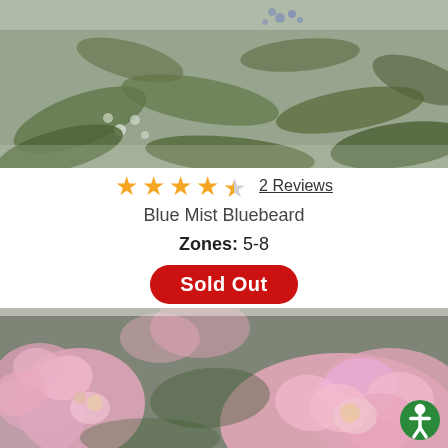[Figure (photo): Close-up photo of blue/purple flowering plant with green leaves (Bluebeard plant)]
★★★★½ 2 Reviews
Blue Mist Bluebeard
Zones: 5-8
Sold Out
[Figure (photo): Close-up photo of pink hydrangea flowers with green background]